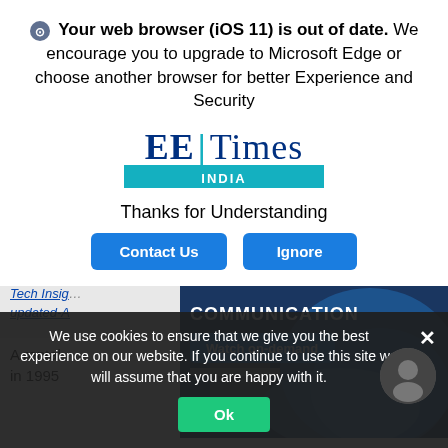Your web browser (iOS 11) is out of date. We encourage you to upgrade to Microsoft Edge or choose another browser for better Experience and Security
[Figure (logo): EE Times India logo with teal bar]
Thanks for Understanding
Contact Us | Ignore
[Figure (screenshot): Background page with Tech Insights navigation and Communication satellite ad banner with Watch on-demand button]
A rental [property] as built in 1995
We use cookies to ensure that we give you the best experience on our website. If you continue to use this site we will assume that you are happy with it.
Ok